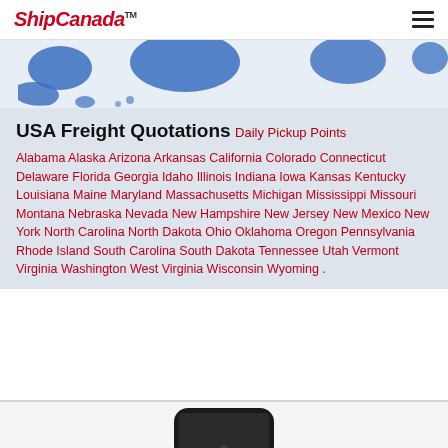ShipCanada™
[Figure (map): Partial map of USA/Canada showing blue state/province shapes on a light background]
USA Freight Quotations
Daily Pickup Points
Alabama Alaska Arizona Arkansas California Colorado Connecticut Delaware Florida Georgia Idaho Illinois Indiana Iowa Kansas Kentucky Louisiana Maine Maryland Massachusetts Michigan Mississippi Missouri Montana Nebraska Nevada New Hampshire New Jersey New Mexico New York North Carolina North Dakota Ohio Oklahoma Oregon Pennsylvania Rhode Island South Carolina South Dakota Tennessee Utah Vermont Virginia Washington West Virginia Wisconsin Wyoming .
[Figure (photo): Partial bottom of a mobile phone device visible at page bottom]